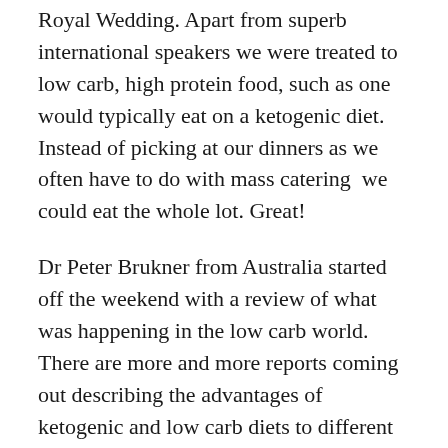Royal Wedding. Apart from superb international speakers we were treated to low carb, high protein food, such as one would typically eat on a ketogenic diet. Instead of picking at our dinners as we often have to do with mass catering  we could eat the whole lot. Great!
Dr Peter Brukner from Australia started off the weekend with a review of what was happening in the low carb world. There are more and more reports coming out describing the advantages of ketogenic and low carb diets to different groups of people but the establishment are fighting back viciously as can be seen by the attack on Professor Tim Noakes in South Africa. Indeed if kind of a the